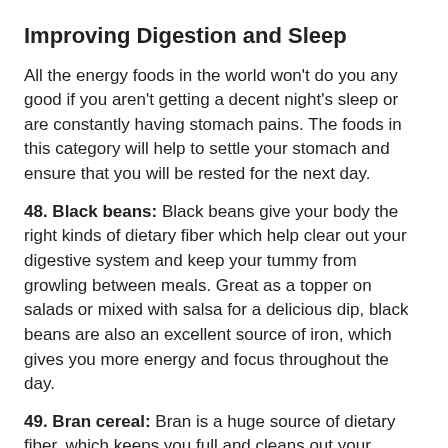Improving Digestion and Sleep
All the energy foods in the world won't do you any good if you aren't getting a decent night's sleep or are constantly having stomach pains. The foods in this category will help to settle your stomach and ensure that you will be rested for the next day.
48. Black beans: Black beans give your body the right kinds of dietary fiber which help clear out your digestive system and keep your tummy from growling between meals. Great as a topper on salads or mixed with salsa for a delicious dip, black beans are also an excellent source of iron, which gives you more energy and focus throughout the day.
49. Bran cereal: Bran is a huge source of dietary fiber, which keeps you full and cleans out your digestive system. Great for battling constipation, bran will keep your mind on your day and not on having to use the restroom.
50. Avocado: Avocados are full of dietary fiber and potassium, which will keep you from cramping up due to